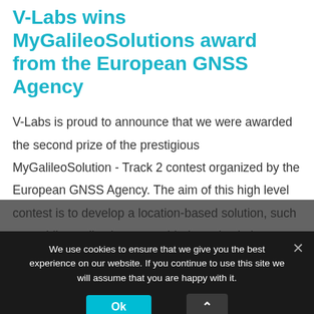V-Labs wins MyGalileoSolutions award from the European GNSS Agency
V-Labs is proud to announce that we were awarded the second prize of the prestigious MyGalileoSolution - Track 2 contest organized by the European GNSS Agency. The aim of this high level contest is to develop a location-based solution, such as mobile application, wearable-based solution,
We use cookies to ensure that we give you the best experience on our website. If you continue to use this site we will assume that you are happy with it.